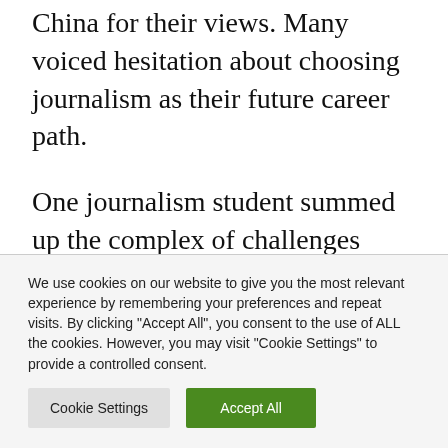reached out to journalism school students in China for their views. Many voiced hesitation about choosing journalism as their future career path.
One journalism student summed up the complex of challenges facing the journalist in China today, from low salaries and tight content controls, to the risk of personal attack
We use cookies on our website to give you the most relevant experience by remembering your preferences and repeat visits. By clicking "Accept All", you consent to the use of ALL the cookies. However, you may visit "Cookie Settings" to provide a controlled consent.